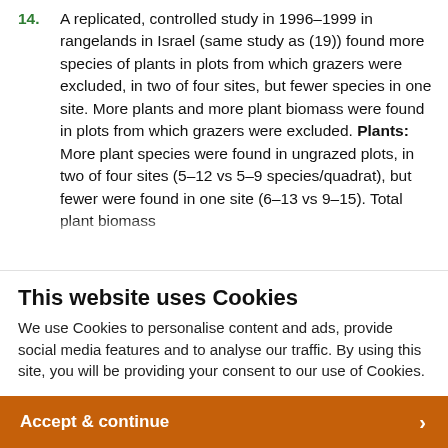14. A replicated, controlled study in 1996–1999 in rangelands in Israel (same study as (19)) found more species of plants in plots from which grazers were excluded, in two of four sites, but fewer species in one site. More plants and more plant biomass were found in plots from which grazers were excluded. Plants: More plant species were found in ungrazed plots, in two of four sites (5–12 vs 5–9 species/quadrat), but fewer were found in one site (6–13 vs 9–15). Total plant biomass [cut off]
This website uses Cookies
We use Cookies to personalise content and ads, provide social media features and to analyse our traffic. By using this site, you will be providing your consent to our use of Cookies.
Accept & continue ›